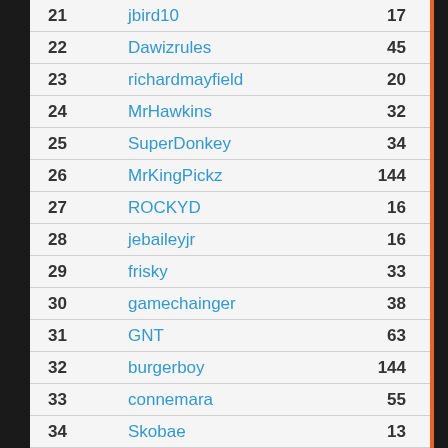| Rank | Username | Score |
| --- | --- | --- |
| 21 | jbird10 | 17 |
| 22 | Dawizrules | 45 |
| 23 | richardmayfield | 20 |
| 24 | MrHawkins | 32 |
| 25 | SuperDonkey | 34 |
| 26 | MrKingPickz | 144 |
| 27 | ROCKYD | 16 |
| 28 | jebaileyjr | 16 |
| 29 | frisky | 33 |
| 30 | gamechainger | 38 |
| 31 | GNT | 63 |
| 32 | burgerboy | 144 |
| 33 | connemara | 55 |
| 34 | Skobae | 13 |